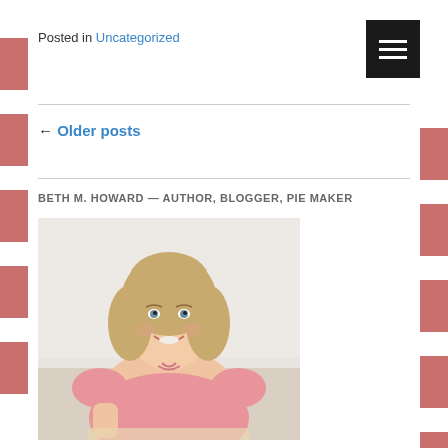Posted in Uncategorized
← Older posts
BETH M. HOWARD — AUTHOR, BLOGGER, PIE MAKER
[Figure (photo): A smiling blonde woman wearing a pink short-sleeve top, sitting at a table, appearing to be making or serving pie.]